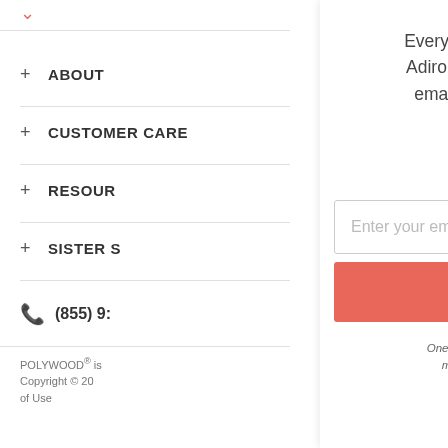+ ABOUT
+ CUSTOMER CARE
+ RESOUR
+ SISTER S
(855) 9:
POLYWOOD® is
Copyright © 20
of Use
Every month, we're giving away a FREE Adirondack Chair valued at $199+ to on email subscribers. (Hey, that could be
Enter your email address
SIGN ME UP!
One (1) winner will be selected at random at the end month and contacted by email. U.S. entrants o